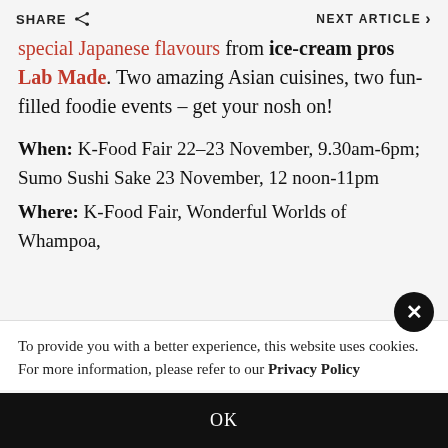SHARE | NEXT ARTICLE
special Japanese flavours from ice-cream pros Lab Made. Two amazing Asian cuisines, two fun-filled foodie events – get your nosh on!
When: K-Food Fair 22–23 November, 9.30am-6pm; Sumo Sushi Sake 23 November, 12 noon-11pm
Where: K-Food Fair, Wonderful Worlds of Whampoa,
To provide you with a better experience, this website uses cookies. For more information, please refer to our Privacy Policy
OK